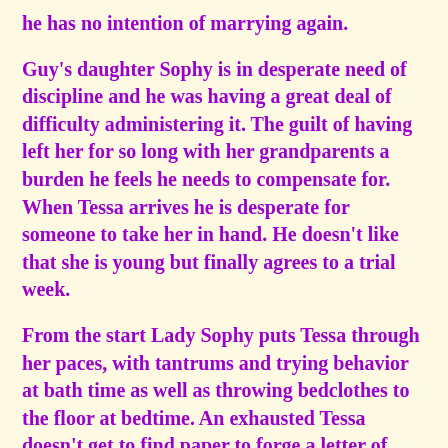he has no intention of marrying again.
Guy's daughter Sophy is in desperate need of discipline and he was having a great deal of difficulty administering it. The guilt of having left her for so long with her grandparents a burden he feels he needs to compensate for. When Tessa arrives he is desperate for someone to take her in hand. He doesn't like that she is young but finally agrees to a trial week.
From the start Lady Sophy puts Tessa through her paces, with tantrums and trying behavior at bath time as well as throwing bedclothes to the floor at bedtime. An exhausted Tessa doesn't get to find paper to forge a letter of reference falling asleep instead. She almost loses her position but manages to convince the duke she's the best choice as she can give Sophy the transition